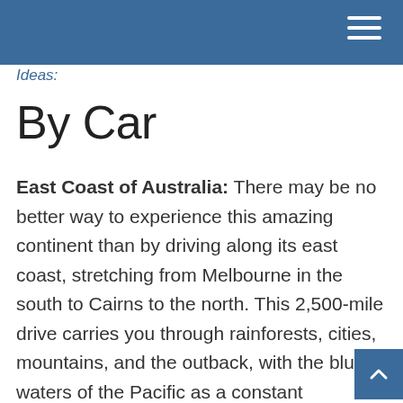Ideas:
By Car
East Coast of Australia: There may be no better way to experience this amazing continent than by driving along its east coast, stretching from Melbourne in the south to Cairns to the north. This 2,500-mile drive carries you through rainforests, cities, mountains, and the outback, with the blue waters of the Pacific as a constant companion. Be sure to carve out time for the Great Barrier Reef, snorkeling, kayaking, and hiking along the way.